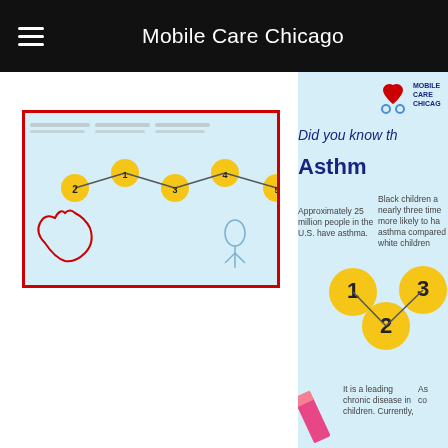Mobile Care Chicago
[Figure (screenshot): Mobile app UI showing Mobile Care Chicago webpage with an asthma infographic. Left side shows a thumbnail of the infographic. Right side shows partial infographic with Mobile Care Chicago logo, heading 'Did you know th... Asthm...' and stats: 'Approximately 25 million people in the U.S. have asthma.', 'Black children a... nearly three time... more likely to ha... asthma compared... white children...', numbered circles 1, 2, 3, 'It is a leading chronic disease in children. Currently,' and partial text 'As... co...']